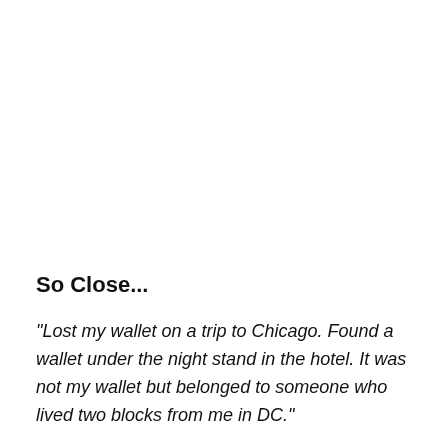So Close...
"Lost my wallet on a trip to Chicago. Found a wallet under the night stand in the hotel. It was not my wallet but belonged to someone who lived two blocks from me in DC."